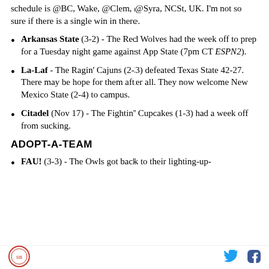schedule is @BC, Wake, @Clem, @Syra, NCSt, UK. I'm not so sure if there is a single win in there.
Arkansas State (3-2) - The Red Wolves had the week off to prep for a Tuesday night game against App State (7pm CT ESPN2).
La-Laf - The Ragin' Cajuns (2-3) defeated Texas State 42-27. There may be hope for them after all. They now welcome New Mexico State (2-4) to campus.
Citadel (Nov 17) - The Fightin' Cupcakes (1-3) had a week off from sucking.
ADOPT-A-TEAM
FAU! (3-3) - The Owls got back to their lighting-up-